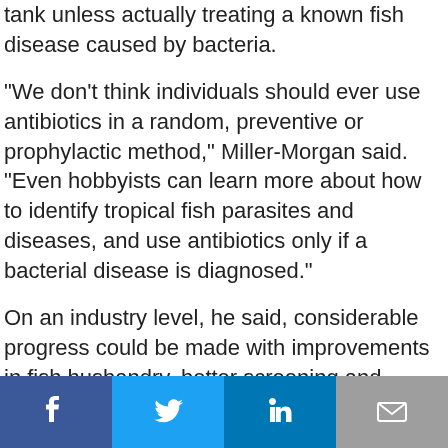tank unless actually treating a known fish disease caused by bacteria.
"We don't think individuals should ever use antibiotics in a random, preventive or prophylactic method," Miller-Morgan said. "Even hobbyists can learn more about how to identify tropical fish parasites and diseases, and use antibiotics only if a bacterial disease is diagnosed."
On an industry level, he said, considerable progress could be made with improvements in fish husbandry, better screening and handling, and use of quarantines, rather than antibiotics, to reduce fish disease.
[Figure (infographic): Social sharing bar with four buttons: Facebook (dark blue), Twitter (light blue), LinkedIn (medium blue), Email (gray)]